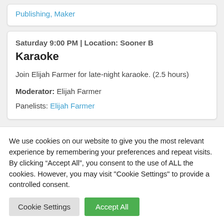Publishing, Maker
Saturday 9:00 PM | Location: Sooner B
Karaoke
Join Elijah Farmer for late-night karaoke. (2.5 hours)
Moderator: Elijah Farmer
Panelists: Elijah Farmer
We use cookies on our website to give you the most relevant experience by remembering your preferences and repeat visits. By clicking “Accept All”, you consent to the use of ALL the cookies. However, you may visit "Cookie Settings" to provide a controlled consent.